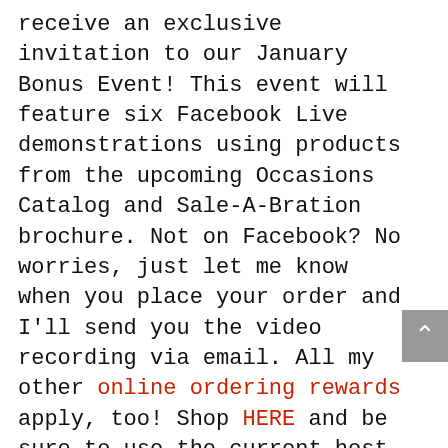receive an exclusive invitation to our January Bonus Event! This event will feature six Facebook Live demonstrations using products from the upcoming Occasions Catalog and Sale-A-Bration brochure. Not on Facebook? No worries, just let me know when you place your order and I'll send you the video recording via email. All my other online ordering rewards apply, too! Shop HERE and be sure to use the current host code YPZEXQU3.